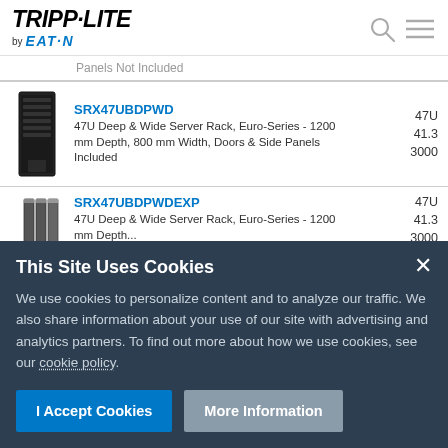[Figure (logo): Tripp-Lite by Eaton logo in header]
| Product | Description | U | kg | Max Load |
| --- | --- | --- | --- | --- |
| SRX47UBDPWD | 47U Deep & Wide Server Rack, Euro-Series - 1200 mm Depth, 800 mm Width, Doors & Side Panels Included | 47U | 41.3 | 3000 |
| SRX47UBDPWDEXP | 47U Deep & Wide Server Rack, Euro-Series - 1200 mm Depth... | 47U | 41.3 | 3000 |
This Site Uses Cookies
We use cookies to personalize content and to analyze our traffic. We also share information about your use of our site with advertising and analytics partners. To find out more about how we use cookies, see our cookie policy.
I Accept Cookies
More Information